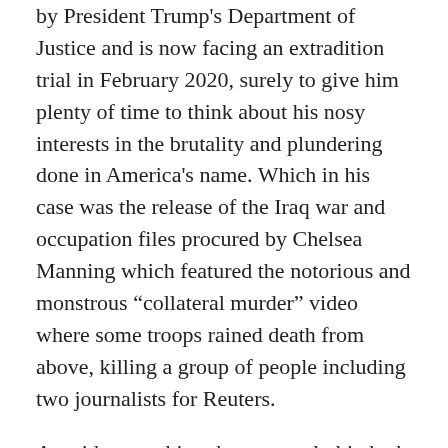by President Trump's Department of Justice and is now facing an extradition trial in February 2020, surely to give him plenty of time to think about his nosy interests in the brutality and plundering done in America's name. Which in his case was the release of the Iraq war and occupation files procured by Chelsea Manning which featured the notorious and monstrous “collateral murder” video where some troops rained death from above, killing a group of people including two journalists for Reuters.
As with everything the extremely big bad orange man baby says and does, it’s really fucked up and a tad inexplicable that he’s doing this to Assange. Even though the Wikileaks release of Hillary Clinton’s campaign emails was found to have nothing to do with any Russian “collusion” to lead to his victory, it